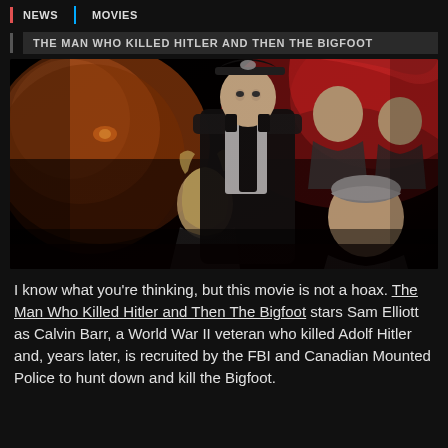NEWS | MOVIES
THE MAN WHO KILLED HITLER AND THEN THE BIGFOOT
[Figure (photo): Movie poster for 'The Man Who Killed Hitler and Then The Bigfoot' showing composite of characters including a man in a Nazi SS officer uniform/cap in the center, a woman to his left, older men to the right, and a large creature face on the far left, all against a dark reddish background.]
I know what you're thinking, but this movie is not a hoax. The Man Who Killed Hitler and Then The Bigfoot stars Sam Elliott as Calvin Barr, a World War II veteran who killed Adolf Hitler and, years later, is recruited by the FBI and Canadian Mounted Police to hunt down and kill the Bigfoot.